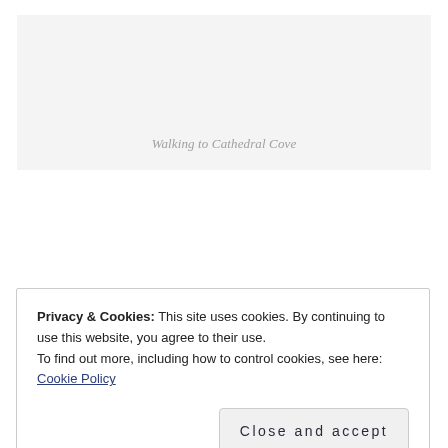[Figure (photo): Light gray placeholder image area with italic caption text 'Walking to Cathedral Cove' centered near the bottom]
Walking to Cathedral Cove
Privacy & Cookies: This site uses cookies. By continuing to use this website, you agree to their use.
To find out more, including how to control cookies, see here: Cookie Policy
Close and accept